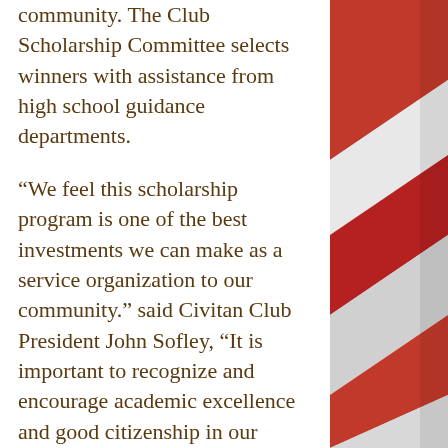community. The Club Scholarship Committee selects winners with assistance from high school guidance departments.
“We feel this scholarship program is one of the best investments we can make as a service organization to our community.” said Civitan Club President John Sofley, “It is important to recognize and encourage academic excellence and good citizenship in our young people.” The recipients, their family members and representatives of each school joined members of the Civitan Club at the awards luncheon.
Scholarship Committee Chairman
[Figure (illustration): Decorative diagonal stripes in red, white, and grey on the right side of the page, resembling a flag or ribbon motif.]